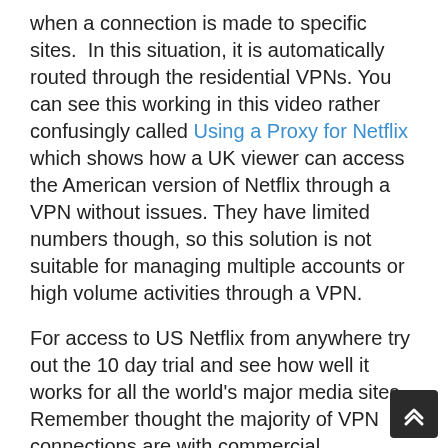when a connection is made to specific sites. In this situation, it is automatically routed through the residential VPNs. You can see this working in this video rather confusingly called Using a Proxy for Netflix which shows how a UK viewer can access the American version of Netflix through a VPN without issues. They have limited numbers though, so this solution is not suitable for managing multiple accounts or high volume activities through a VPN.
For access to US Netflix from anywhere try out the 10 day trial and see how well it works for all the world's major media sites. Remember thought the majority of VPN connections are with commercial addresses, not residential ones. If you don't need a residential IP then you can use something like NordVPN which will bypass most geo blocks quite easily and is very inexpensive.